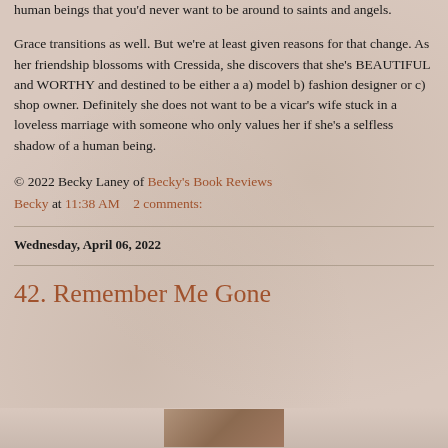human beings that you'd never want to be around to saints and angels.
Grace transitions as well. But we're at least given reasons for that change. As her friendship blossoms with Cressida, she discovers that she's BEAUTIFUL and WORTHY and destined to be either a a) model b) fashion designer or c) shop owner. Definitely she does not want to be a vicar's wife stuck in a loveless marriage with someone who only values her if she's a selfless shadow of a human being.
© 2022 Becky Laney of Becky's Book Reviews
Becky at 11:38 AM   2 comments:
Wednesday, April 06, 2022
42. Remember Me Gone
[Figure (photo): Partial book cover image at the bottom of the page]